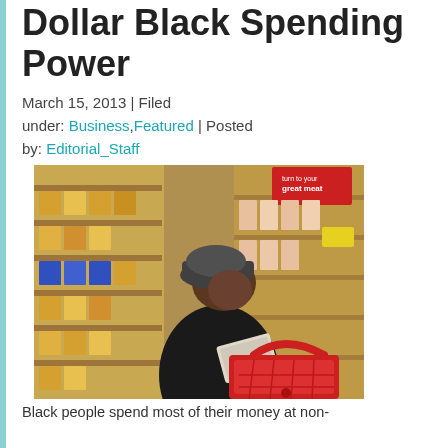Dollar Black Spending Power
March 15, 2013 | Filed under: Business, Featured | Posted by: Editorial_Staff
[Figure (photo): A person wearing a dark jacket and cap browses a grocery store meat aisle, holding a red shopping basket and reading a package label.]
Black people spend most of their money at non-